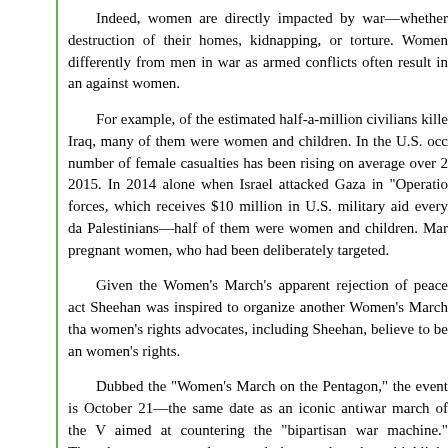Indeed, women are directly impacted by war—whether destruction of their homes, kidnapping, or torture. Women differently from men in war as armed conflicts often result in an against women.
For example, of the estimated half-a-million civilians kille Iraq, many of them were women and children. In the U.S. occ number of female casualties has been rising on average over 2 2015. In 2014 alone when Israel attacked Gaza in "Operatio forces, which receives $10 million in U.S. military aid every da Palestinians—half of them were women and children. Mar pregnant women, who had been deliberately targeted.
Given the Women's March's apparent rejection of peace act Sheehan was inspired to organize another Women's March tha women's rights advocates, including Sheehan, believe to be an women's rights.
Dubbed the "Women's March on the Pentagon," the event is October 21—the same date as an iconic antiwar march of the V aimed at countering the "bipartisan war machine." Though me encouraged to attend, the march seeks to highlight women's i disastrous consequences of war.
The effects of war on women of nations they...